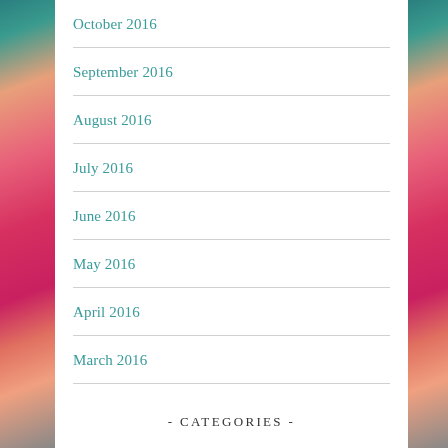October 2016
September 2016
August 2016
July 2016
June 2016
May 2016
April 2016
March 2016
- CATEGORIES -